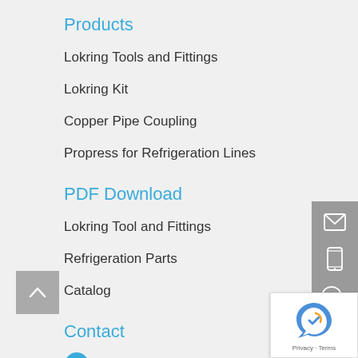Products
Lokring Tools and Fittings
Lokring Kit
Copper Pipe Coupling
Propress for Refrigeration Lines
PDF Download
Lokring Tool and Fittings
Refrigeration Parts
Catalog
Contact
miracle01@miracleref.com